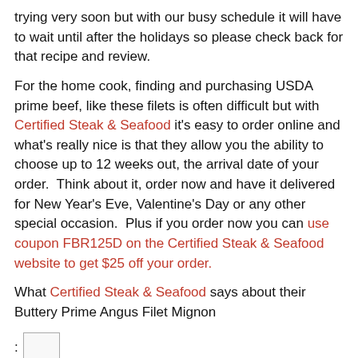trying very soon but with our busy schedule it will have to wait until after the holidays so please check back for that recipe and review.
For the home cook, finding and purchasing USDA prime beef, like these filets is often difficult but with Certified Steak & Seafood it's easy to order online and what's really nice is that they allow you the ability to choose up to 12 weeks out, the arrival date of your order. Think about it, order now and have it delivered for New Year's Eve, Valentine's Day or any other special occasion. Plus if you order now you can use coupon FBR125D on the Certified Steak & Seafood website to get $25 off your order.
What Certified Steak & Seafood says about their Buttery Prime Angus Filet Mignon
[Figure (other): Small placeholder image thumbnail]
"If there was ever a steak that you will believe can “melt in your mouth” the Certified Steak and Seafood Prime angus Filet Mignon is it. With a delectable almost sweet beef flavor, and a strong buttery undertone that only Prime angus offers